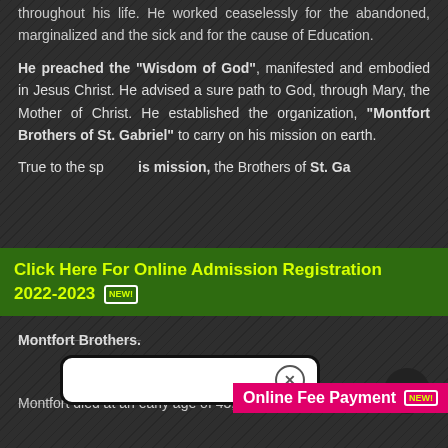throughout his life. He worked ceaselessly for the abandoned, marginalized and the sick and for the cause of Education.
He preached the “Wisdom of God”, manifested and embodied in Jesus Christ. He advised a sure path to God, through Mary, the Mother of Christ. He established the organization, “Montfort Brothers of St. Gabriel” to carry on his mission on earth.
True to the spirit of his mission, the Brothers of St. Gabriel...
[Figure (screenshot): Popup dialog with X close button overlaying text]
Online Fee Payment [NEW]
Click Here For Online Admission Registration 2022-2023 [NEW]
Montfort Brothers.
Montfort died at an early age of 43, on 28th April 1716.